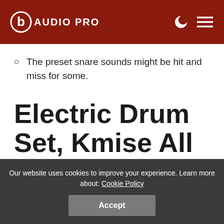AUDIO PRO
The preset snare sounds might be hit and miss for some.
Electric Drum Set, Kmise All Mesh Drumhead
Our website uses cookies to improve your experience. Learn more about: Cookie Policy